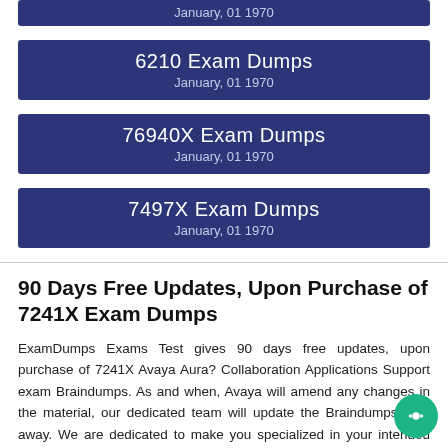January, 01 1970
6210 Exam Dumps
January, 01 1970
76940X Exam Dumps
January, 01 1970
7497X Exam Dumps
January, 01 1970
90 Days Free Updates, Upon Purchase of 7241X Exam Dumps
ExamDumps Exams Test gives 90 days free updates, upon purchase of 7241X Avaya Aura? Collaboration Applications Support exam Braindumps. As and when, Avaya will amend any changes in the material, our dedicated team will update the Braindumps right away. We are dedicated to make you specialized in your intended field that's why we don't leave a stone unturned. You will remain up-to-date with our 7241X